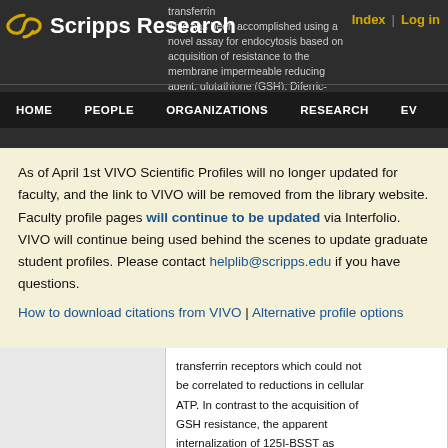Scripps Research — Index | Log in
This has been accomplished using a novel assay for endocytosis based on acquisition of resistance to the membrane impermeable reducing agent, glutathione (GSH). Diferric-transferrin was conjugated to biotin via a cleavable disulfide bond and
HOME | PEOPLE | ORGANIZATIONS | RESEARCH | EV
As of April 1st VIVO Scientific Profiles will no longer updated for faculty, and the link to VIVO will be removed from the library website. Faculty profile pages will continue to be updated via Interfolio. VIVO will continue being used behind the scenes to update graduate student profiles. Please contact helplib@scripps.edu if you have questions.
How to download citations from VIVO | Alternative profile options
transferrin receptors which could not be correlated to reductions in cellular ATP. In contrast to the acquisition of GSH resistance, the apparent internalization of 125I-BSST as assessed by inaccessibility to antitransferrin antibodies reached